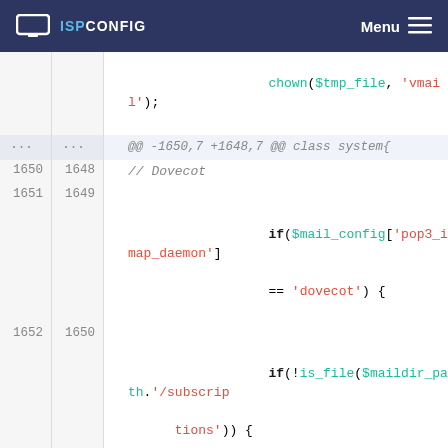ISPCONFIG  Menu
[Figure (screenshot): Code diff view showing PHP code. Lines 1650-1655 old, 1648-1653 new. A deleted line (1653) uses escapeshellcmd($maildir_path.'/subscriptions'); and a new added line (1651) replaces it with $maildir_path.'/subscriptions'; directly.]